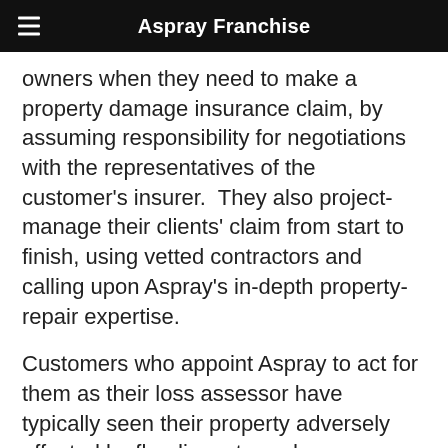Aspray Franchise
owners when they need to make a property damage insurance claim, by assuming responsibility for negotiations with the representatives of the customer's insurer.  They also project-manage their clients' claim from start to finish, using vetted contractors and calling upon Aspray's in-depth property-repair expertise.
Customers who appoint Aspray to act for them as their loss assessor have typically seen their property adversely affected by flooding, storm damage, theft, fire, escapes of water, malicious damage by tenants, or other impacts. Our